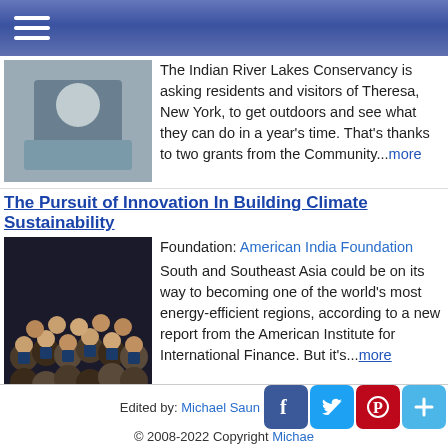Navigation bar with hamburger menu
The Indian River Lakes Conservancy is asking residents and visitors of Theresa, New York, to get outdoors and see what they can do in a year’s time. That’s thanks to two grants from the Community...more
The Pursuit of Innovation In Building Climate Sustainability
Foundation: American India Foundation
South and Southeast Asia could be on its way to becoming one of the world’s most energy-efficient regions, according to a new report from the American Institute for International Finance. But it’s...more
Climate Board Driving Cutting Edge Climate Solutions
When it comes to climate change, America’s infrastructure is pretty much the only thing left standing, according to a new report from the Climate Board. In fact, the report found that by 2030, the...more
Edited by: Michael Saun  © 2008-2022 Copyright Michae